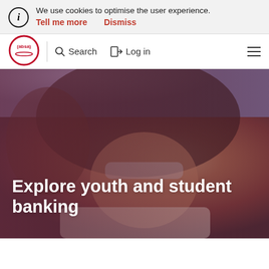We use cookies to optimise the user experience.
Tell me more   Dismiss
[Figure (logo): Absa bank logo - circular red border with (absa) text in red]
Search   Log in
[Figure (photo): Young woman with curly hair and sunglasses smiling outdoors with a purple/warm toned overlay]
Explore youth and student banking